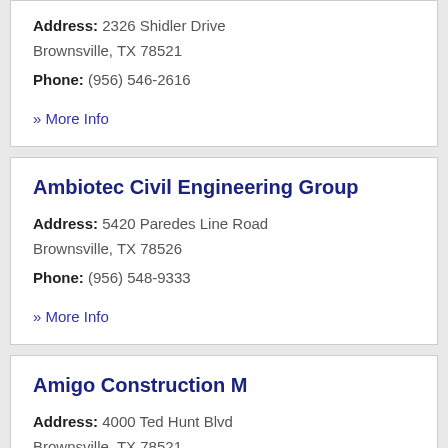Address: 2326 Shidler Drive Brownsville, TX 78521
Phone: (956) 546-2616
» More Info
Ambiotec Civil Engineering Group
Address: 5420 Paredes Line Road Brownsville, TX 78526
Phone: (956) 548-9333
» More Info
Amigo Construction M
Address: 4000 Ted Hunt Blvd Brownsville, TX 78521